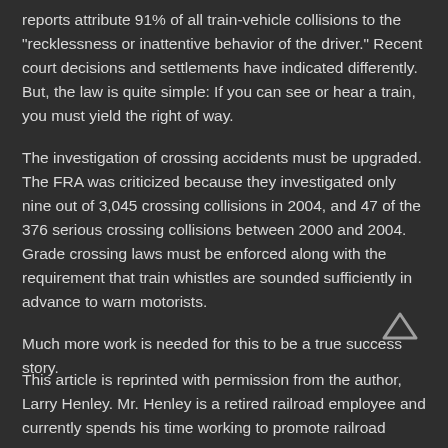reports attribute 91% of all train-vehicle collisions to the "recklessness or inattentive behavior of the driver." Recent court decisions and settlements have indicated differently. But, the law is quite simple: If you can see or hear a train, you must yield the right of way.
The investigation of crossing accidents must be upgraded. The FRA was criticized because they investigated only nine out of 3,045 crossing collisions in 2004, and 47 of the 376 serious crossing collisions between 2000 and 2004. Grade crossing laws must be enforced along with the requirement that train whistles are sounded sufficiently in advance to warn motorists.
Much more work is needed for this to be a true success story.
This article is reprinted with permission from the author, Larry Henley. Mr. Henley is a retired railroad employee and currently spends his time working to promote railroad